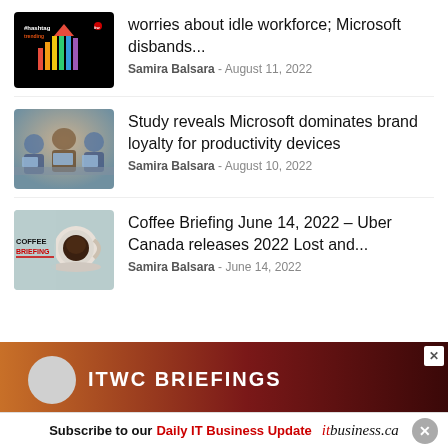[Figure (photo): Hashtag Trending podcast logo with colorful upward arrow on black background]
worries about idle workforce; Microsoft disbands...
Samira Balsara - August 11, 2022
[Figure (photo): People sitting around a table with laptops, blurred background]
Study reveals Microsoft dominates brand loyalty for productivity devices
Samira Balsara - August 10, 2022
[Figure (photo): Coffee Briefing logo with a cup of coffee on light blue background]
Coffee Briefing June 14, 2022 – Uber Canada releases 2022 Lost and...
Samira Balsara - June 14, 2022
[Figure (screenshot): ITW Briefings advertisement banner with dark red gradient]
Subscribe to our Daily IT Business Update  itbusiness.ca